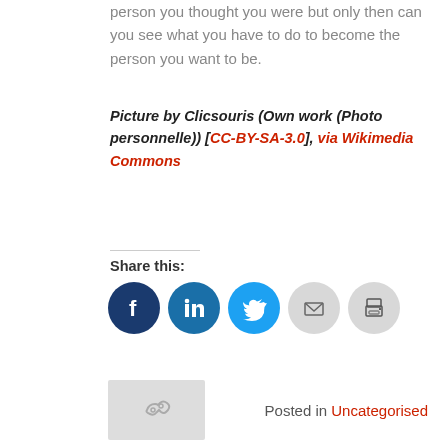person you thought you were but only then can you see what you have to do to become the person you want to be.
Picture by Clicsouris (Own work (Photo personnelle)) [CC-BY-SA-3.0], via Wikimedia Commons
Share this:
[Figure (infographic): Social sharing icons: Facebook (dark blue circle), LinkedIn (blue circle), Twitter (light blue circle), Email (grey circle), Print (grey circle)]
[Figure (illustration): Thumbnail placeholder image with chain/link icon in grey]
Posted in Uncategorised